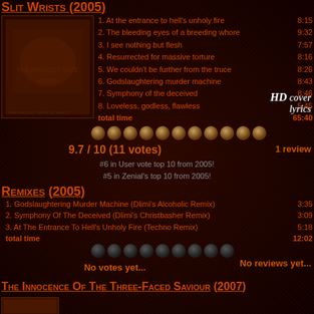Slit Wrists (2005)
1. At the entrance to hell's unholy fire  8:15
2. The bleeding eyes of a breeding whore  9:32
3. I see nothing but flesh  7:57
4. Resurrected for massive torture  8:16
5. We couldn't be further from the truce  8:26
6. Godslaughtering murder machine  8:43
7. Symphony of the deceived  8:46
8. Loveless, godless, flawless  5:45
total time  65:40
HD cover lyrics
9.7 / 10 (11 votes)
1 review
#6 in User vote top 10 from 2005!
#5 in Zenial's top 10 from 2005!
Remixes (2005)
1. Godslaughtering Murder Machine (Dlimi's Alcoholic Remix)  3:35
2. Symphony Of The Deceived (Dlimi's Christbasher Remix)  3:09
3. At The Entrance To Hell's Unholy Fire (Techno Remix)  5:18
total time  12:02
No votes yet...
No reviews yet...
The Innocence Of The Three-Faced Saviour (2007)